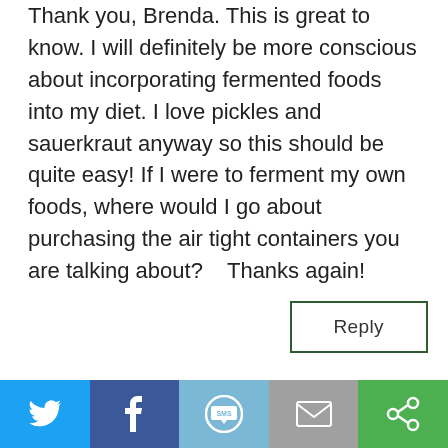Thank you, Brenda. This is great to know. I will definitely be more conscious about incorporating fermented foods into my diet. I love pickles and sauerkraut anyway so this should be quite easy! If I were to ferment my own foods, where would I go about purchasing the air tight containers you are talking about?    Thanks again!
Reply
Brenda Baran, NTP on January 31, 2013 at 11:56 pm
Hi Sarah! Thank you, I'm glad you enjoyed the post    I want to eventually